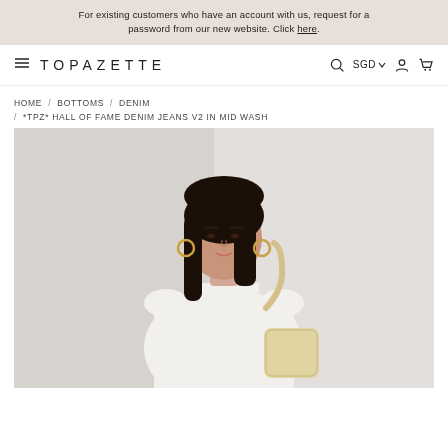For existing customers who have an account with us, request for a password from our new website. Click here.
TOPAZETTE  🔍  SGD ▾  👤  🛒
HOME / BOTTOMS / DENIM / *TPZ* HALL OF FAME DENIM JEANS V2 IN MID WASH
[Figure (photo): A young woman with long dark hair wearing a white short-sleeve square-neck top and carrying a cream/beige bag, photographed against a light grey/white background. Product photo for Topazette denim jeans.]